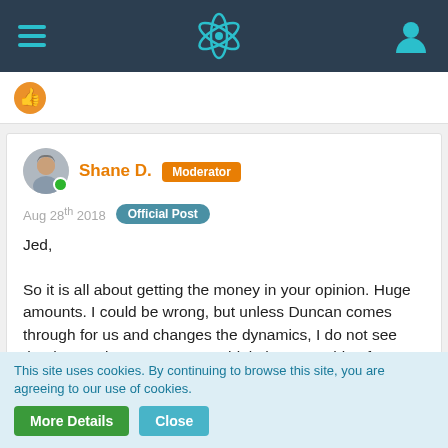Navigation bar with hamburger menu, React/atom logo, and user icon
Shane D. Moderator
Aug 28th 2018 Official Post
Jed,

So it is all about getting the money in your opinion. Huge amounts. I could be wrong, but unless Duncan comes through for us and changes the dynamics, I do not see that happening. You seem to think the same thing from your comments. So what do we do? Nothing, or hope like hell that Alan/Russ, MFMP, and all the other skilled, and non-skilled, garage tinkerers get lucky?
×2
This site uses cookies. By continuing to browse this site, you are agreeing to our use of cookies.